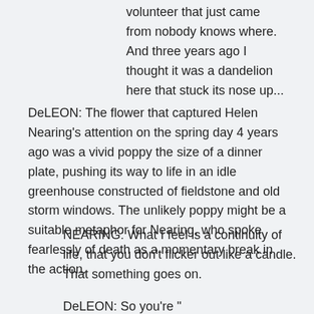volunteer that just came from nobody knows where. And three years ago I thought it was a dandelion here that stuck its nose up...
DeLEON: The flower that captured Helen Nearing's attention on the spring day 4 years ago was a vivid poppy the size of a dinner plate, pushing its way to life in an idle greenhouse constructed of fieldstone and old storm windows. The unlikely poppy might be a suitable metaphor for Nearing, who spoke fearlessly of death as a momentary break in the action.
NEARING: What I feel is a continuity of life, that you don't flicker out like a candle. That something goes on.
DeLEON: So you're "